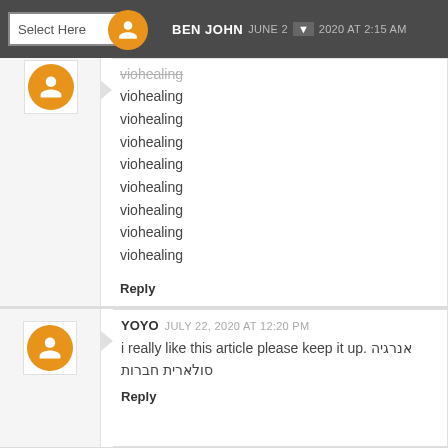Select Here  BEN JOHN  JUNE 2, 2020 AT 2:15 AM
viohealing
viohealing
viohealing
viohealing
viohealing
viohealing
viohealing
viohealing
viohealing
Reply
YOYO  JULY 22, 2020 AT 12:20 PM
i really like this article please keep it up. אנרגיה סולארית חברות
Reply
ABDULSEO  DECEMBER 1, 2020 AT 5:19 PM
Clients marketing strategies that you